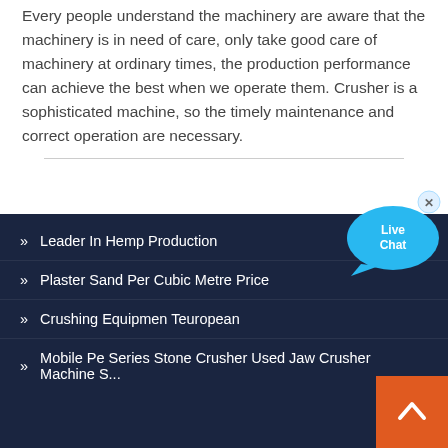Every people understand the machinery are aware that the machinery is in need of care, only take good care of machinery at ordinary times, the production performance can achieve the best when we operate them. Crusher is a sophisticated machine, so the timely maintenance and correct operation are necessary.
[Figure (other): Live Chat button widget — blue speech bubble with 'Live Chat' text and an X close button]
Leader In Hemp Production
Plaster Sand Per Cubic Metre Price
Crushing Equipmen Teuropean
Mobile Pe Series Stone Crusher Used Jaw Crusher Machine S...